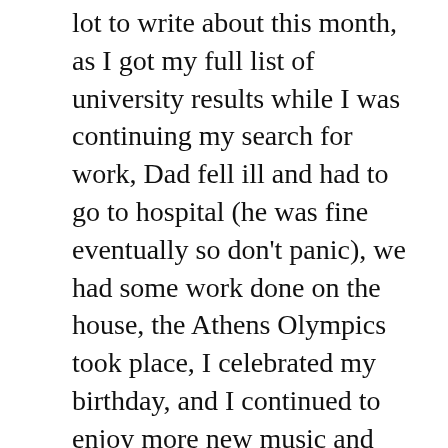lot to write about this month, as I got my full list of university results while I was continuing my search for work, Dad fell ill and had to go to hospital (he was fine eventually so don't panic), we had some work done on the house, the Athens Olympics took place, I celebrated my birthday, and I continued to enjoy more new music and DVD purchases. So this is probably my longest journal post so far, and I hope you enjoy it!
Continue reading
Share this:
Email | Tweet | SHARE | Print